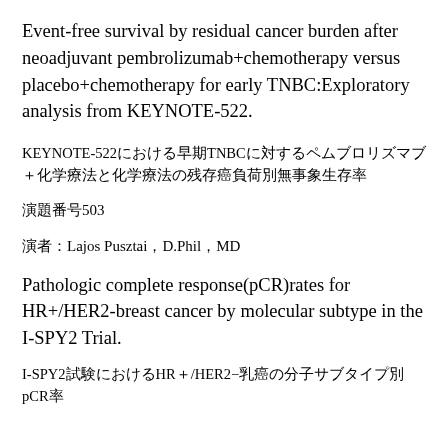Event-free survival by residual cancer burden after neoadjuvant pembrolizumab+chemotherapy versus placebo+chemotherapy for early TNBC:Exploratory analysis from KEYNOTE-522.
KEYNOTE-522における早期TNBCに対するペムブロリズマブ＋化学療法と化学療法の残存癌負荷別無事象生存率
演題番号503
演者：Lajos Pusztai，D.Phil，MD
Pathologic complete response(pCR)rates for HR+/HER2-breast cancer by molecular subtype in the I-SPY2 Trial.
I-SPY2試験におけるHR＋/HER2−乳癌の分子サブタイプ別pCR率